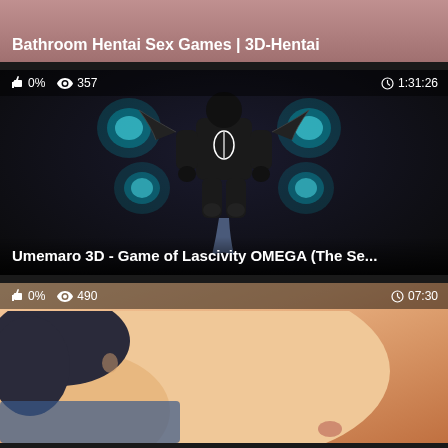Bathroom Hentai Sex Games | 3D-Hentai
0%  357  1:31:26
[Figure (screenshot): Dark video thumbnail showing a black armored character with glowing blue orbs surrounding it]
Umemaro 3D - Game of Lascivity OMEGA (The Se...
0%  490  07:30
[Figure (screenshot): Anime/hentai style cartoon thumbnail, partial view]